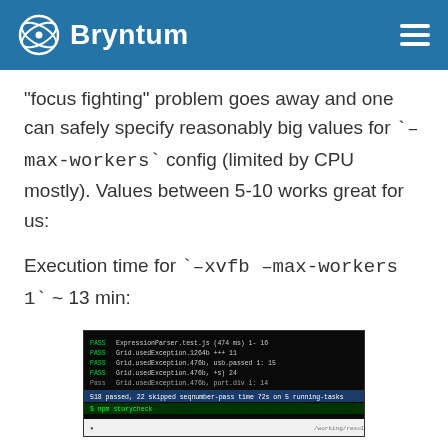Bryntum
“focus fighting” problem goes away and one can safely specify reasonably big values for `-max-workers` config (limited by CPU mostly). Values between 5-10 works great for us:
Execution time for `-xvfb -max-workers 1` ~ 13 min:
[Figure (screenshot): Terminal/command line screenshot showing execution output with green and white text on black background, displaying test run results with timing information.]